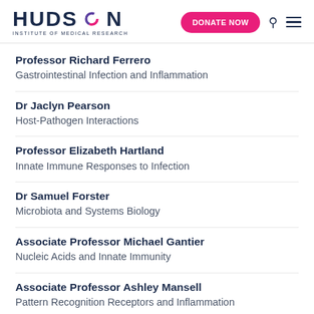Hudson Institute of Medical Research — DONATE NOW
Professor Richard Ferrero
Gastrointestinal Infection and Inflammation
Dr Jaclyn Pearson
Host-Pathogen Interactions
Professor Elizabeth Hartland
Innate Immune Responses to Infection
Dr Samuel Forster
Microbiota and Systems Biology
Associate Professor Michael Gantier
Nucleic Acids and Innate Immunity
Associate Professor Ashley Mansell
Pattern Recognition Receptors and Inflammation
Professor Paul Hertzog